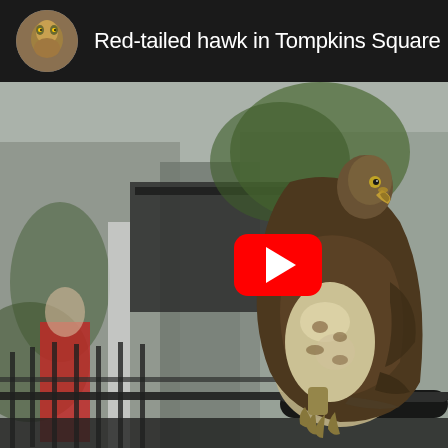Red-tailed hawk in Tompkins Square
[Figure (photo): A red-tailed hawk perched on a metal fence railing in an urban park (Tompkins Square), with blurred city street background showing trees, storefronts, and pedestrians. A YouTube play button overlay is visible in the center-right of the image.]